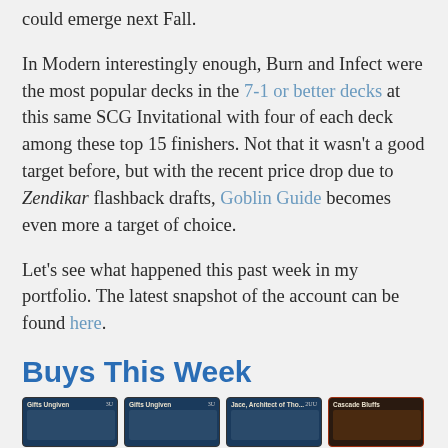could emerge next Fall.
In Modern interestingly enough, Burn and Infect were the most popular decks in the 7-1 or better decks at this same SCG Invitational with four of each deck among these top 15 finishers. Not that it wasn't a good target before, but with the recent price drop due to Zendikar flashback drafts, Goblin Guide becomes even more a target of choice.
Let's see what happened this past week in my portfolio. The latest snapshot of the account can be found here.
Buys This Week
[Figure (photo): Four Magic: The Gathering card images shown in a horizontal strip - two Gifts Ungiven cards, one Jace Architect of Thought card, and one Cascade Bluffs card]